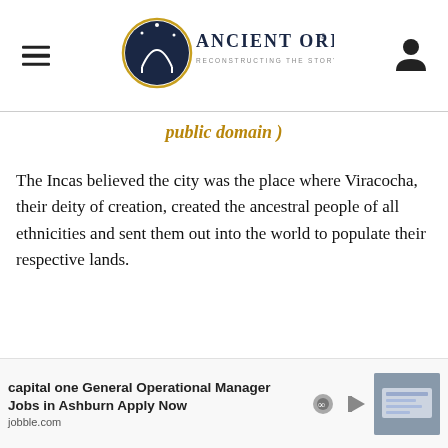Ancient Origins — Reconstructing the story of humanity's past
public domain )
The Incas believed the city was the place where Viracocha, their deity of creation, created the ancestral people of all ethnicities and sent them out into the world to populate their respective lands.
[Figure (other): Advertisement banner: capital one General Operational Manager Jobs in Ashburn Apply Now — jobble.com, with small office photo thumbnail]